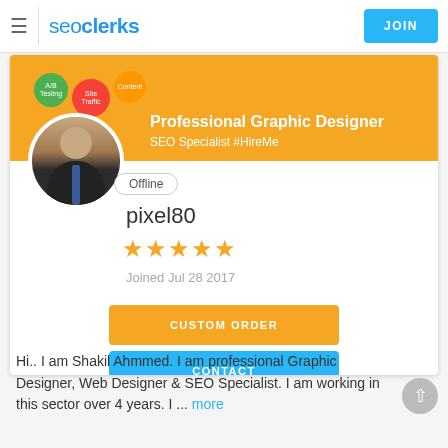seoclerks | JOIN
[Figure (screenshot): SEOClerks user profile page for pixel80, showing a banner with 'Professional Graphic Designer' text, user avatar, offline badge, 5-star rating, join date Jul 28 2017, Custom Order and Contact buttons]
Hi.. I am Shakil Ahmmed. I am professional Graphic Designer, Web Designer & SEO Specialist. I am working in this sector over 4 years. I ... more